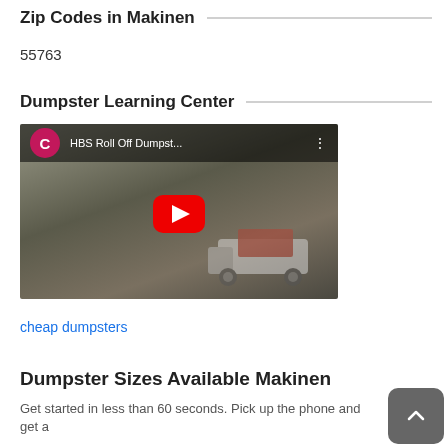Zip Codes in Makinen
55763
Dumpster Learning Center
[Figure (screenshot): YouTube video thumbnail showing a roll-off dumpster truck with channel icon 'C', video title 'HBS Roll Off Dumpst...' and a red play button in the center]
cheap dumpsters
Dumpster Sizes Available Makinen
Get started in less than 60 seconds. Pick up the phone and get a